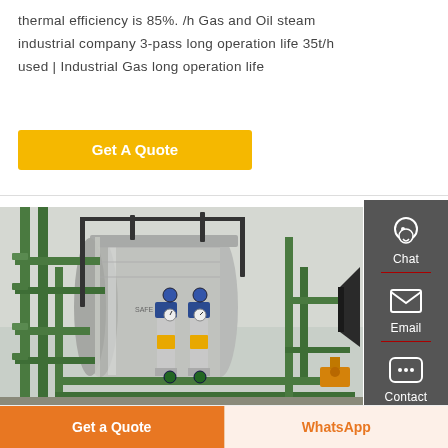thermal efficiency is 85%. /h Gas and Oil steam industrial company 3-pass long operation life 35t/h used | Industrial Gas long operation life
Get A Quote
[Figure (photo): Industrial gas/oil steam boiler installation showing large cylindrical boiler tank with green pipes, blue pumps, valves, and associated piping in an industrial facility.]
Chat
Email
Contact
Get a Quote
WhatsApp